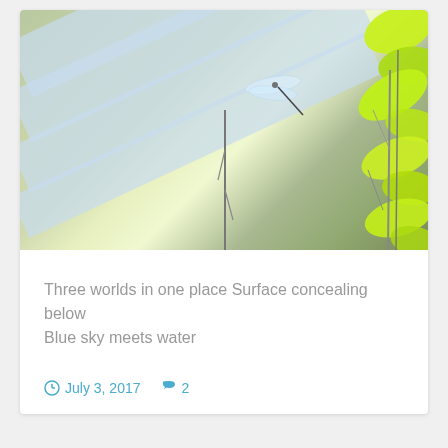[Figure (photo): A dragonfly perched on a thin twig with blurred striped background of blue-gray and olive tones, with bright green leaves on the right side]
Three worlds in one place Surface concealing below Blue sky meets water
July 3, 2017  2